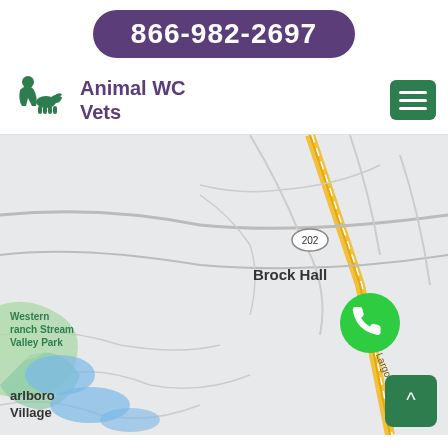866-982-2697
Animal WC Vets
[Figure (map): Google Maps view showing Brock Hall area with route 202, Old Largo Rd, Western Branch Stream Valley Park, and partial labels for Marlboro Village. A green phone FAB button is overlaid on the map.]